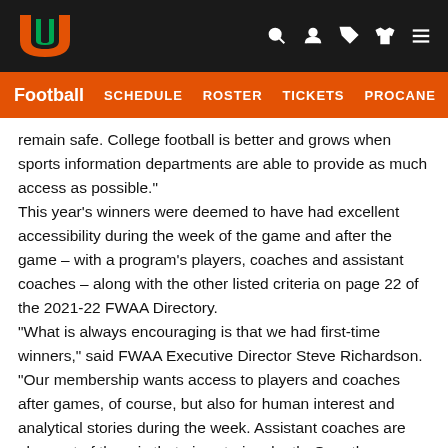University of Miami Football — Navigation bar
Football  SCHEDULE  ROSTER  TICKETS  PROCANE
remain safe. College football is better and grows when sports information departments are able to provide as much access as possible."
This year's winners were deemed to have had excellent accessibility during the week of the game and after the game – with a program's players, coaches and assistant coaches – along with the other listed criteria on page 22 of the 2021-22 FWAA Directory.
“What is always encouraging is that we had first-time winners,” said FWAA Executive Director Steve Richardson. “Our membership wants access to players and coaches after games, of course, but also for human interest and analytical stories during the week. Assistant coaches are also part of the mix that give stories depth. Over the years,